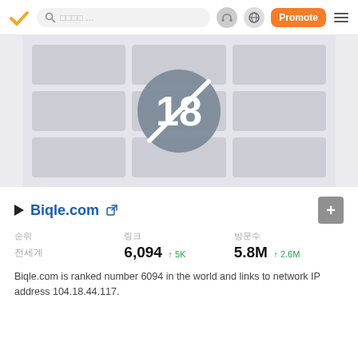[Figure (screenshot): Navigation bar with logo, search bar, user icons, Promote button, and hamburger menu]
[Figure (other): Blurred/restricted content grid with 18+ age restriction overlay circle]
Biqle.com
| 순위 | 링크 | 방문수 |
| --- | --- | --- |
| 전세계 | 6,094 ↑5K | 5.8M ↑2.6M |
Biqle.com is ranked number 6094 in the world and links to network IP address 104.18.44.117.